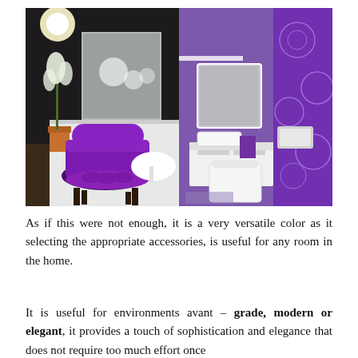[Figure (photo): Two side-by-side interior design photos. Left: a dark-walled living room with a purple tufted velvet armchair, white side table, white orchid plant, and a framed artwork on the wall with a chandelier above. Right: a modern bathroom with purple floral patterned wall tiles, white vanity unit, white toilet, and a mirror lit from above.]
As if this were not enough, it is a very versatile color as it selecting the appropriate accessories, is useful for any room in the home.
It is useful for environments avant – grade, modern or elegant, it provides a touch of sophistication and elegance that does not require too much effort once